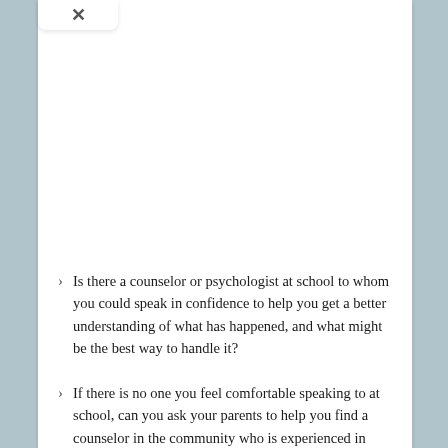Is there a counselor or psychologist at school to whom you could speak in confidence to help you get a better understanding of what has happened, and what might be the best way to handle it?
If there is no one you feel comfortable speaking to at school, can you ask your parents to help you find a counselor in the community who is experienced in working with teens?